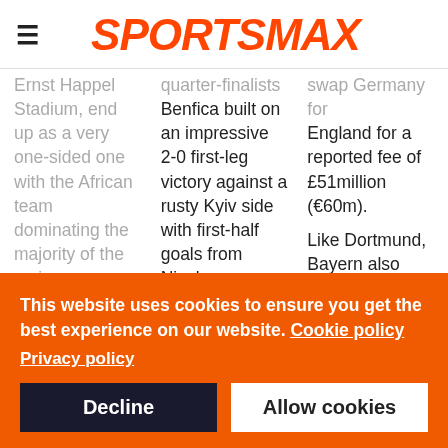SPORTSMAX
Ernst Happel Stadium, end up as a very one-sided one with the African team dominating the majority of the major categories.

Although they
quarter-finalists Benfica built on an impressive 2-0 first-leg victory against a rusty Kyiv side with first-half goals from Nicolas Otamendi, Rafa Silva and David
swap Germany for England for a reported fee of £51million (€60m).

Like Dortmund, Bayern also saw their talismanic centre-forward
This website uses cookies to ensure you get the best experience on our website. Cookie policy
Privacy policy
Decline
Allow cookies